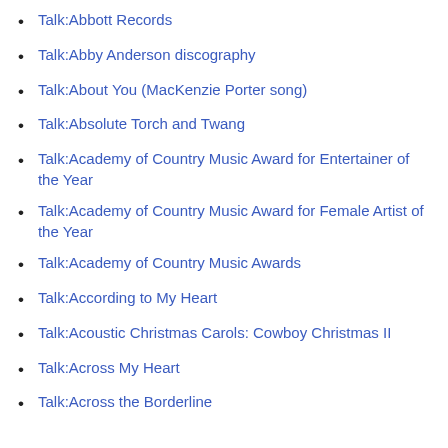Talk:Abbott Records
Talk:Abby Anderson discography
Talk:About You (MacKenzie Porter song)
Talk:Absolute Torch and Twang
Talk:Academy of Country Music Award for Entertainer of the Year
Talk:Academy of Country Music Award for Female Artist of the Year
Talk:Academy of Country Music Awards
Talk:According to My Heart
Talk:Acoustic Christmas Carols: Cowboy Christmas II
Talk:Across My Heart
Talk:Across the Borderline